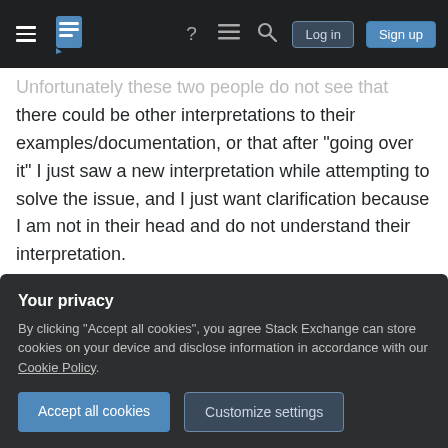Stack Exchange navigation bar with hamburger menu, logo, help, chat, search icons, Log in and Sign up buttons
Unfortunately these two people do not see that there could be other interpretations to their examples/documentation, or that after "going over it" I just saw a new interpretation while attempting to solve the issue, and I just want clarification because I am not in their head and do not understand their interpretation.
These are both people who cannot step into someone else's shoes. I already tried to talk to the PM about some of the ways she communicates in a certain situation, and in response received "This
Your privacy
By clicking "Accept all cookies", you agree Stack Exchange can store cookies on your device and disclose information in accordance with our Cookie Policy.
Accept all cookies   Customize settings
gracefully?